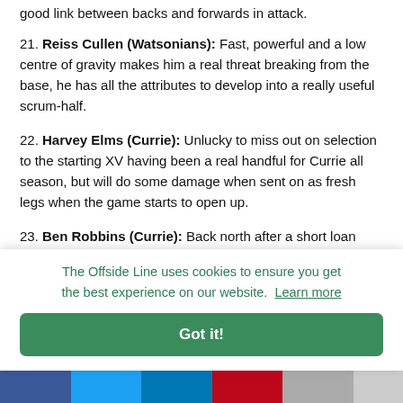good link between backs and forwards in attack.
21. Reiss Cullen (Watsonians): Fast, powerful and a low centre of gravity makes him a real threat breaking from the base, he has all the attributes to develop into a really useful scrum-half.
22. Harvey Elms (Currie): Unlucky to miss out on selection to the starting XV having been a real handful for Currie all season, but will do some damage when sent on as fresh legs when the game starts to open up.
23. Ben Robbins (Currie): Back north after a short loan spell with London Scottish and scoring for fun since his return, [partially hidden by cookie banner] ake
The Offside Line uses cookies to ensure you get the best experience on our website. Learn more
Got it!